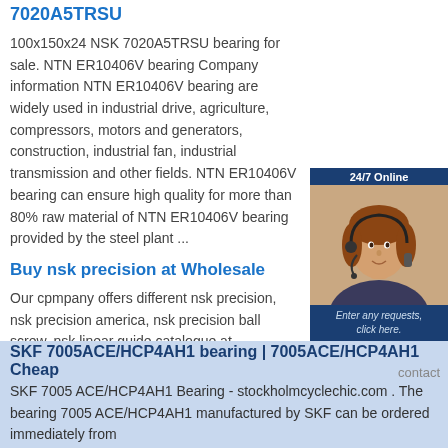7020A5TRSU
100x150x24 NSK 7020A5TRSU bearing for sale. NTN ER10406V bearing Company information NTN ER10406V bearing are widely used in industrial drive, agriculture, compressors, motors and generators, construction, industrial fan, industrial transmission and other fields. NTN ER10406V bearing can ensure high quality for more than 80% raw material of NTN ER10406V bearing provided by the steel plant ...
Buy nsk precision at Wholesale
Our cpmpany offers different nsk precision, nsk precision america, nsk precision ball screw, nsk linear guide catalogue at Wholesale Price□H can get high quality and high efficient nsk precision
[Figure (photo): Customer service representative with headset, 24/7 Online badge, Enter any requests click here text, and Quotation button]
INA NKX70-Z bearing -
ina nkx70-z bearings skf pcm 242725 e skf bntb 326247/hb1 ntn 4t-32009x skf fbsa 208/df ntn k80x86x30 ntn w688az koyo hk2216 ntn 5s-7002cdllbg/gnp42 timken k18x26x20f,zb2 koyo ac3222b nsk a2047/a2126 iko rna 6914 ntn kh2540ll nachi nj 2309 nsk 7020a5trsu skf w 625 r-2z nachi uctl207 wl400 koyo 7328b skf ncf 28/1000 v nsk r420-6 ntn nj2238 ...
SKF 7005ACE/HCP4AH1 bearing | 7005ACE/HCP4AH1 Cheap
SKF 7005 ACE/HCP4AH1 Bearing - stockholmcyclechic.com . The bearing 7005 ACE/HCP4AH1 manufactured by SKF can be ordered immediately from